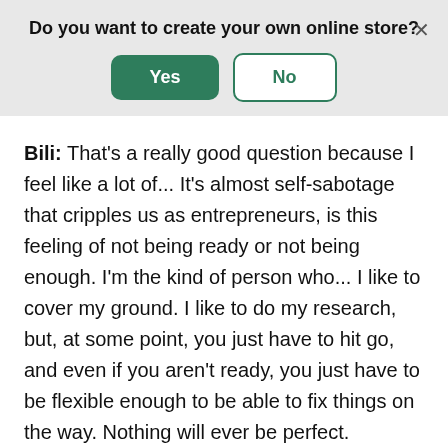Do you want to create your own online store?
Bili: That's a really good question because I feel like a lot of... It's almost self-sabotage that cripples us as entrepreneurs, is this feeling of not being ready or not being enough. I'm the kind of person who... I like to cover my ground. I like to do my research, but, at some point, you just have to hit go, and even if you aren't ready, you just have to be flexible enough to be able to fix things on the way. Nothing will ever be perfect.